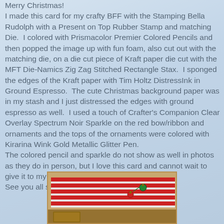Merry Christmas!
I made this card for my crafty BFF with the Stamping Bella Rudolph with a Present on Top Rubber Stamp and matching Die.  I colored with Prismacolor Premier Colored Pencils and then popped the image up with fun foam, also cut out with the matching die, on a die cut piece of Kraft paper die cut with the MFT Die-Namics Zig Zag Stitched Rectangle Stax.  I sponged the edges of the Kraft paper with Tim Holtz DistressInk in Ground Espresso.  The cute Christmas background paper was in my stash and I just distressed the edges with ground espresso as well.  I used a touch of Crafter's Companion Clear Overlay Spectrum Noir Sparkle on the red bow/ribbon and ornaments and the tops of the ornaments were colored with Kirarina Wink Gold Metallic Glitter Pen.
The colored pencil and sparkle do not show as well in photos as they do in person, but I love this card and cannot wait to give it to my BFF.
See you all soon!
[Figure (photo): A handmade Christmas card shown from above, featuring red and white horizontal stripes with small Christmas ornament decorations, mounted on a kraft paper background.]